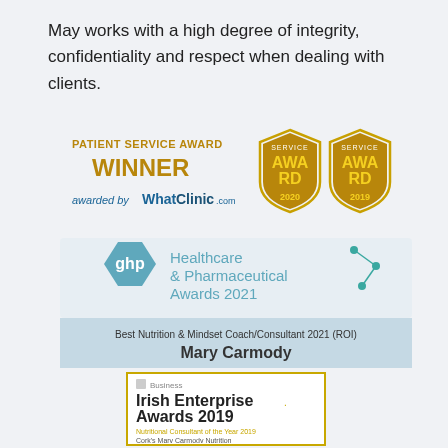May works with a high degree of integrity, confidentiality and respect when dealing with clients.
[Figure (logo): Patient Service Award Winner awarded by WhatClinic.com with Service Award 2020 and Service Award 2019 badges]
[Figure (logo): GHP Healthcare & Pharmaceutical Awards 2021 - Best Nutrition & Mindset Coach/Consultant 2021 (ROI) Mary Carmody]
[Figure (logo): Irish Enterprise Awards 2019 - Nutritional Consultant of the Year 2019 - Cork's Mary Carmody Nutrition]